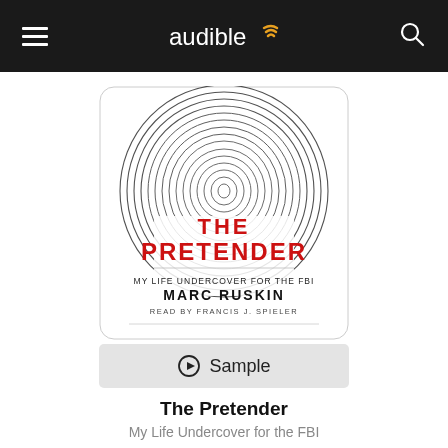audible
[Figure (illustration): Audiobook cover for 'The Pretender: My Life Undercover for the FBI' by Marc Ruskin, read by Francis J. Spieler. White background with a large fingerprint graphic and bold red text reading THE PRETENDER.]
▶ Sample
The Pretender
My Life Undercover for the FBI